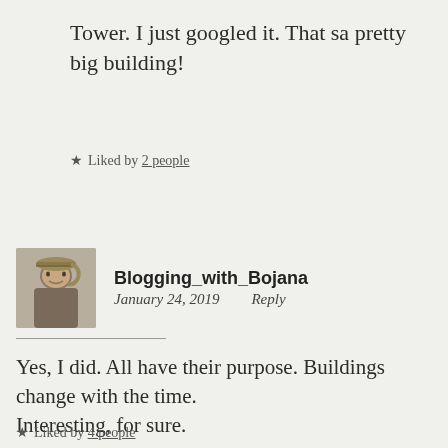Tower. I just googled it. That sa pretty big building!
★ Liked by 2 people
Blogging_with_Bojana
January 24, 2019   Reply
Yes, I did. All have their purpose. Buildings change with the time.
Interesting, for sure.
★ Liked by 4 people